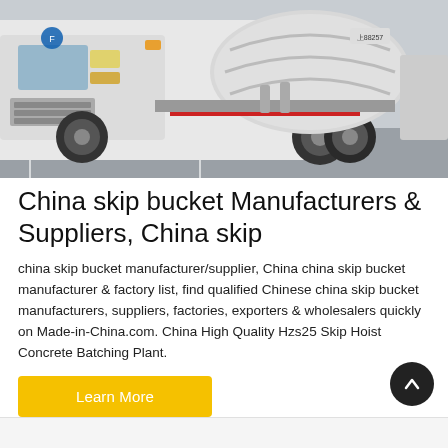[Figure (photo): A white concrete mixer truck photographed at a parking area, shot from the front-left angle showing the cab and the rotating drum.]
China skip bucket Manufacturers & Suppliers, China skip
china skip bucket manufacturer/supplier, China china skip bucket manufacturer & factory list, find qualified Chinese china skip bucket manufacturers, suppliers, factories, exporters & wholesalers quickly on Made-in-China.com. China High Quality Hzs25 Skip Hoist Concrete Batching Plant.
Learn More